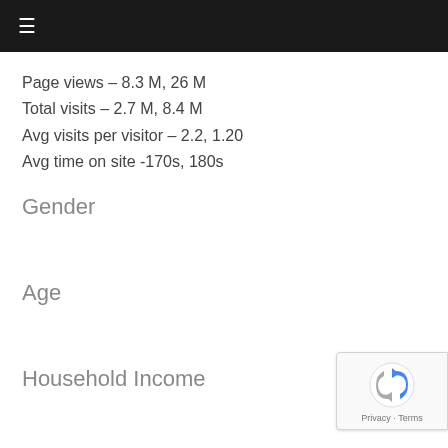≡
Page views – 8.3 M, 26 M
Total visits – 2.7 M, 8.4 M
Avg visits per visitor – 2.2, 1.20
Avg time on site -170s, 180s
Gender
Age
Household Income
[Figure (other): reCAPTCHA privacy badge with spinning arrow icon, Privacy · Terms text]